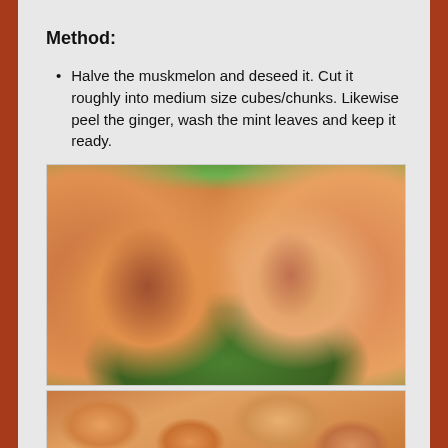Method:
Halve the muskmelon and deseed it. Cut it roughly into medium size cubes/chunks. Likewise peel the ginger, wash the mint leaves and keep it ready.
[Figure (photo): Two halves of a muskmelon/cantaloupe showing the orange flesh and seed cavity, placed on a green surface]
[Figure (photo): Close-up of cubed/chunked muskmelon pieces]